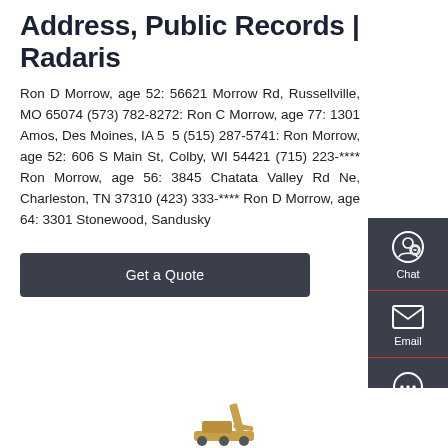Address, Public Records | Radaris
Ron D Morrow, age 52: 56621 Morrow Rd, Russellville, MO 65074 (573) 782-8272: Ron C Morrow, age 77: 1301 Amos, Des Moines, IA 50315 (515) 287-5741: Ron Morrow, age 52: 606 S Main St, Colby, WI 54421 (715) 223-**** Ron Morrow, age 56: 3845 Chatata Valley Rd Ne, Charleston, TN 37310 (423) 333-**** Ron D Morrow, age 64: 3301 Stonewood, Sandusky
Get a Quote